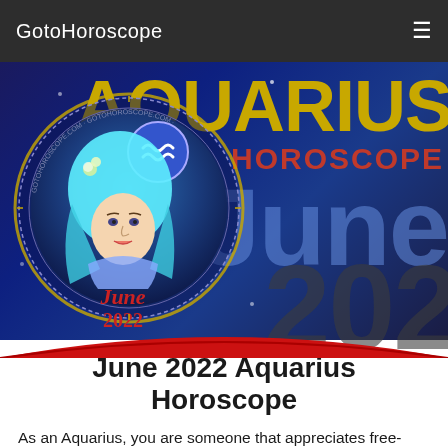GotoHoroscope
[Figure (illustration): Aquarius horoscope hero banner for June 2022 with zodiac circle illustration of Aquarius woman with blue hair, Aquarius symbol, and decorative text on dark blue background]
June 2022 Aquarius Horoscope
As an Aquarius, you are someone that appreciates free-flowing thought and the freedom to act with independence and agency. You are an Air sign, so